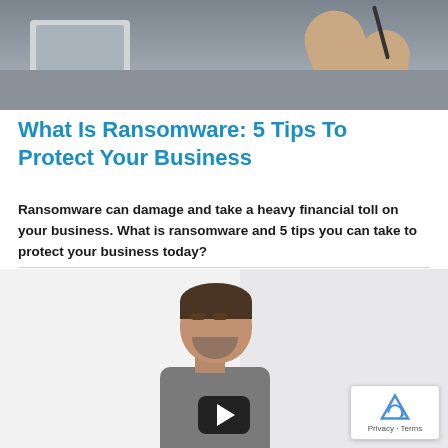[Figure (photo): Hero banner image showing hands writing/signing over a desk with a laptop in the background, muted blue-grey tones]
What Is Ransomware: 5 Tips To Protect Your Business
Ransomware can damage and take a heavy financial toll on your business. What is ransomware and 5 tips you can take to protect your business today?
[Figure (screenshot): Embedded video player showing a middle-aged man with a beard speaking to camera against a white background, with a dark play button overlay at the bottom center and a reCAPTCHA badge in the bottom-right corner]